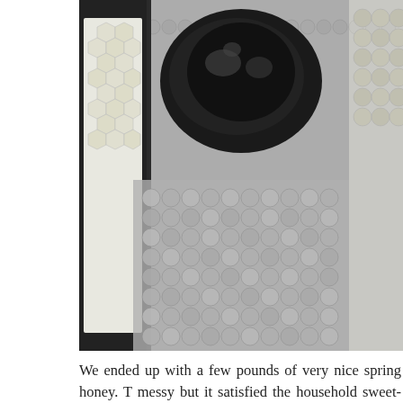[Figure (photo): Close-up photo of a dark/burnt honeycomb on a beekeeping frame, with honeycomb cells visible on the sides and covering background.]
We ended up with a few pounds of very nice spring honey. The process was messy but it satisfied the household sweet-tooth until the main crop.
[Figure (photo): Close-up photo of a burning piece of material (possibly honeycomb wax) in a white bowl, with blue flame visible.]